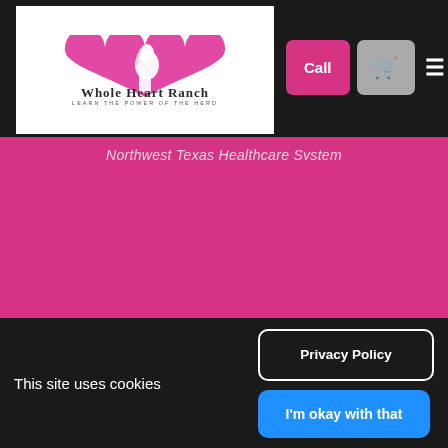[Figure (logo): Whole Heart Ranch logo with pink heart and white horse silhouette, text reads 'Whole Heart Ranch - Learn the Power of the Herd']
Northwest Texas Healthcare System
I've had the pleasure of experiencing Amy's undeniable ability to tap into your emotions and your inner-most thoughts you have about yourself and your life. Her coaching with HeartMath has taught me to both calm and ground myself. Amy is an incredible spirit and
This site uses cookies
Privacy Policy
I'm okay with that